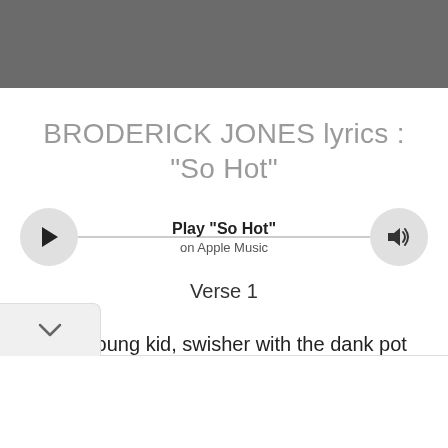BRODERICK JONES lyrics : "So Hot"
[Figure (other): Music player bar with play button on left, volume button on right, and text 'Play "So Hot"' and 'on Apple Music' in center]
Verse 1
Im a young kid, swisher with the dank pot